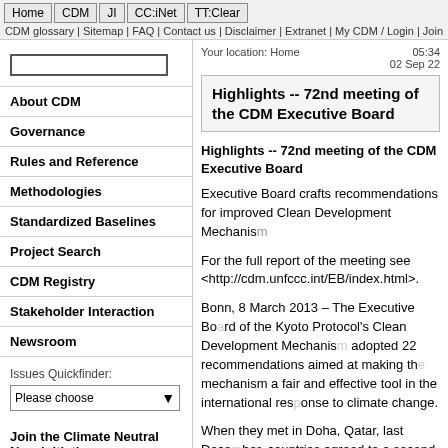Home | CDM | JI | CC:iNet | TT:Clear | CDM glossary | Sitemap | FAQ | Contact us | Disclaimer | Extranet | My CDM / Login | Join
About CDM
Governance
Rules and Reference
Methodologies
Standardized Baselines
Project Search
CDM Registry
Stakeholder Interaction
Newsroom
Issues Quickfinder:
Please choose
Join the Climate Neutral Now initiative:
Your location: Home
05:34
02 Sep 22
Highlights -- 72nd meeting of the CDM Executive Board
Highlights -- 72nd meeting of the CDM Executive Board
Executive Board crafts recommendations for improved Clean Development Mechanism
For the full report of the meeting see <http://cdm.unfccc.int/EB/index.html>.
Bonn, 8 March 2013 – The Executive Board of the Kyoto Protocol's Clean Development Mechanism adopted 22 recommendations aimed at making the mechanism a fair and effective tool in the international response to climate change.
When they met in Doha, Qatar, last December, countries agreed to a second commitment period for the Kyoto Protocol running until the end of 2020, and initiated a review of the rules that govern the CDM.
The CDM Board was asked to submit re